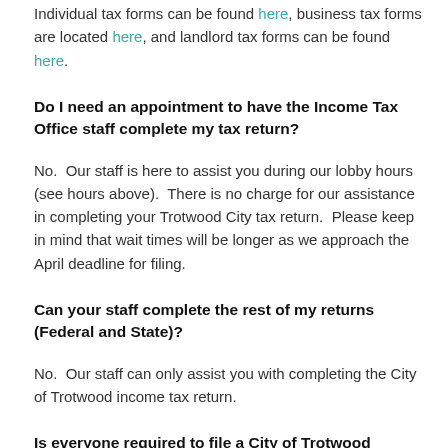Individual tax forms can be found here, business tax forms are located here, and landlord tax forms can be found here.
Do I need an appointment to have the Income Tax Office staff complete my tax return?
No. Our staff is here to assist you during our lobby hours (see hours above). There is no charge for our assistance in completing your Trotwood City tax return. Please keep in mind that wait times will be longer as we approach the April deadline for filing.
Can your staff complete the rest of my returns (Federal and State)?
No. Our staff can only assist you with completing the City of Trotwood income tax return.
Is everyone required to file a City of Trotwood